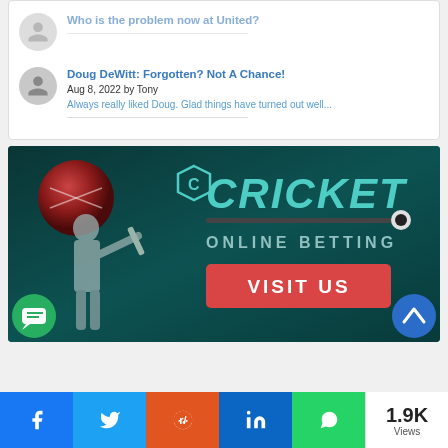Who is the problem now at United?
Doug DeWitt: Forgotten? Not A Chance!
Aug 8, 2022 by Tony
Always really liked Doug. Glad things have turned out well...
[Figure (illustration): Cricket online betting advertisement banner with dark teal background, red cricket ball, batsman silhouette, CRICKET ONLINE BETTING logo and VISIT US button]
1.9K Views — Facebook, Twitter, Reddit, LinkedIn, WhatsApp share buttons